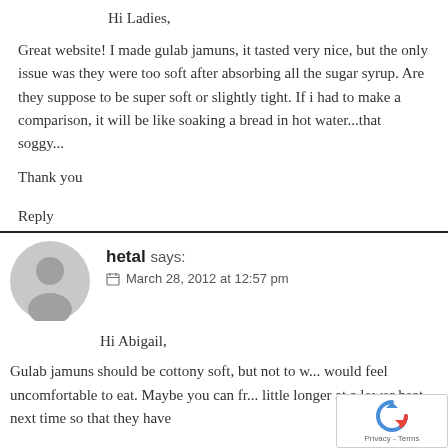Hi Ladies,
Great website! I made gulab jamuns, it tasted very nice, but the only issue was they were too soft after absorbing all the sugar syrup. Are they suppose to be super soft or slightly tight. If i had to make a comparison, it will be like soaking a bread in hot water...that soggy...
Thank you
Reply
hetal says:
March 28, 2012 at 12:57 pm
Hi Abigail,
Gulab jamuns should be cottony soft, but not to w... would feel uncomfortable to eat. Maybe you can fr... little longer at a lower heat next time so that they have